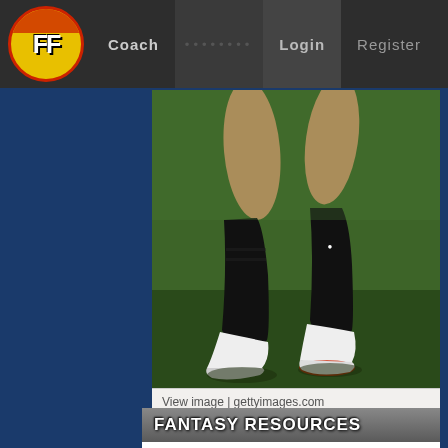FF | Coach | ........ | Login | Register
[Figure (photo): Close-up photo of Australian rules football player legs wearing black socks and white boots, running on grass. Caption: MELBOURNE, AUSTRALIA - APRI... see more. Getty Images Sport / Michael Dodge.]
View image | gettyimages.com
FANTASY RESOURCES
Players: Player search • Depth charts • DT Popularity • Top scorers • Records
News: All
🔆 Hot
❄ Cold
📋 Healthy
🩹 Sore
➕ Injured
📋 LTI
Research: Enter External Team • Dream Teams •